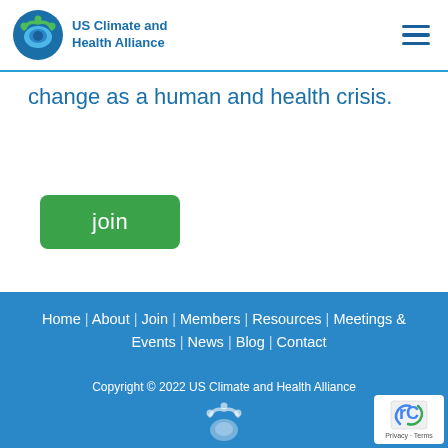US Climate and Health Alliance
change as a human and health crisis.
join
Home | About | Join | Members | Resources | Meetings & Events | News | Blog | Contact
Copyright © 2022 US Climate and Health Alliance
[Figure (logo): US Climate and Health Alliance footer logo icon]
[Figure (other): reCAPTCHA badge with Privacy and Terms links]